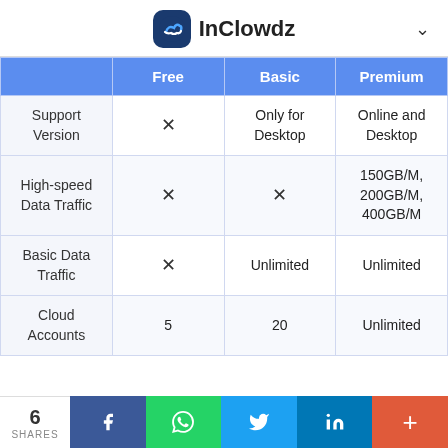InClowdz
|  | Free | Basic | Premium |
| --- | --- | --- | --- |
| Support Version | × | Only for Desktop | Online and Desktop |
| High-speed Data Traffic | × | × | 150GB/M, 200GB/M, 400GB/M |
| Basic Data Traffic | × | Unlimited | Unlimited |
| Cloud Accounts | 5 | 20 | Unlimited |
6 SHARES | Facebook | WhatsApp | Twitter | LinkedIn | More